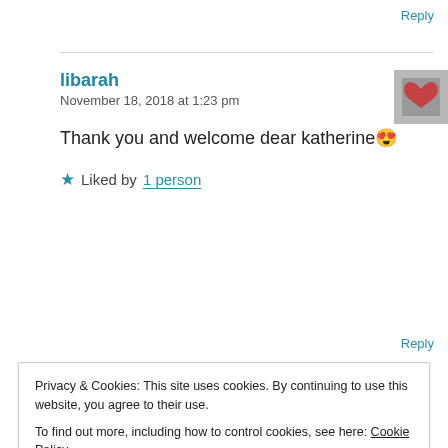Reply
libarah
November 18, 2018 at 1:23 pm
Thank you and welcome dear katherine 😍
★ Liked by 1 person
Reply
Privacy & Cookies: This site uses cookies. By continuing to use this website, you agree to their use.
To find out more, including how to control cookies, see here: Cookie Policy
Close and accept